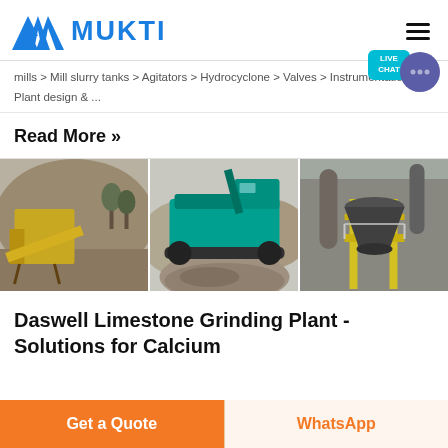MUKTI
mills > Mill slurry tanks > Agitators > Hydrocyclone > Valves > Instrumentation > Plant design & ...
Read More »
[Figure (photo): Three side-by-side photos of mining/crushing equipment: a yellow conveyor/crusher setup at a quarry, a teal/blue mobile jaw crusher with aggregate pile, and an industrial cone crusher on yellow structural framework.]
Daswell Limestone Grinding Plant - Solutions for Calcium
Get a Quote
WhatsApp